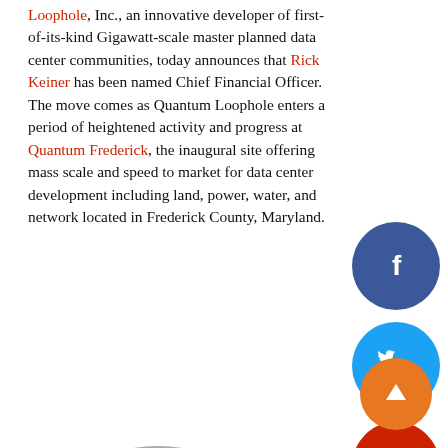Loophole, Inc., an innovative developer of first-of-its-kind Gigawatt-scale master planned data center communities, today announces that Rick Keiner has been named Chief Financial Officer. The move comes as Quantum Loophole enters a period of heightened activity and progress at Quantum Frederick, the inaugural site offering mass scale and speed to market for data center development including land, power, water, and network located in Frederick County, Maryland.
[Figure (logo): Quantum Loophole logo — oval outline with 'quantum loophole' text inside]
[Figure (illustration): Facebook social share button — blue circle with white 'f' icon]
[Figure (illustration): Twitter social share button — cyan circle with white bird icon]
[Figure (illustration): YouTube social share button — red circle with YouTube play icon]
[Figure (illustration): Scroll to top button — orange circle with white upward arrow]
Rick brings two decades of extensive experience in high growth environments improving processes, reporting and profitability to the Quantum Loophole team. Before joining Quantum Loophole, Rick led the F,P & A group at CyrusOne,